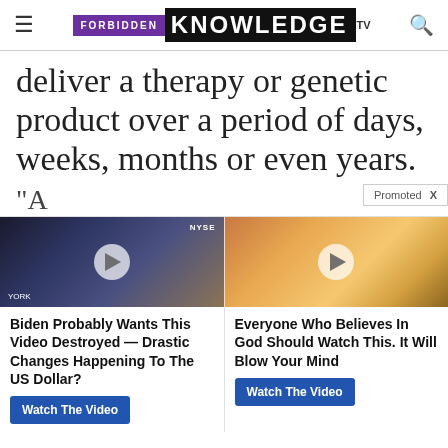FORBIDDEN KNOWLEDGE TV
deliver a therapy or genetic product over a period of days, weeks, months or even years.
(A...
Promoted X
[Figure (screenshot): Two promotional video ad thumbnails: left shows a man at NYSE studio, right shows sunlight through clouds. Each has a play button overlay and article titles below with Watch The Video buttons.]
Biden Probably Wants This Video Destroyed — Drastic Changes Happening To The US Dollar?
Watch The Video
Everyone Who Believes In God Should Watch This. It Will Blow Your Mind
Watch The Video